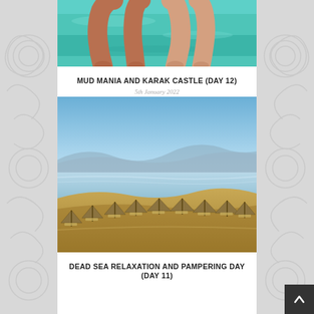[Figure (photo): Two people's legs and feet dangling over turquoise-green water, viewed from above]
MUD MANIA AND KARAK CASTLE (DAY 12)
5th January 2022
[Figure (photo): Aerial view of Dead Sea beach resort with thatched umbrellas and sun loungers along a hillside, with the Dead Sea and clear blue sky in the background]
DEAD SEA RELAXATION AND PAMPERING DAY (DAY 11)